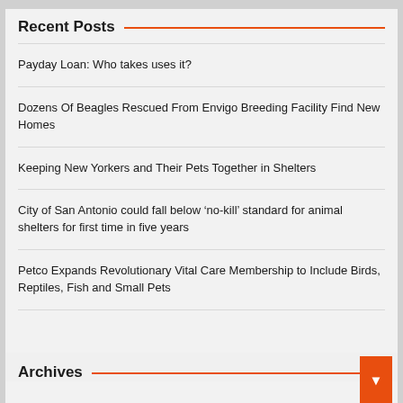Recent Posts
Payday Loan: Who takes uses it?
Dozens Of Beagles Rescued From Envigo Breeding Facility Find New Homes
Keeping New Yorkers and Their Pets Together in Shelters
City of San Antonio could fall below ‘no-kill’ standard for animal shelters for first time in five years
Petco Expands Revolutionary Vital Care Membership to Include Birds, Reptiles, Fish and Small Pets
Archives